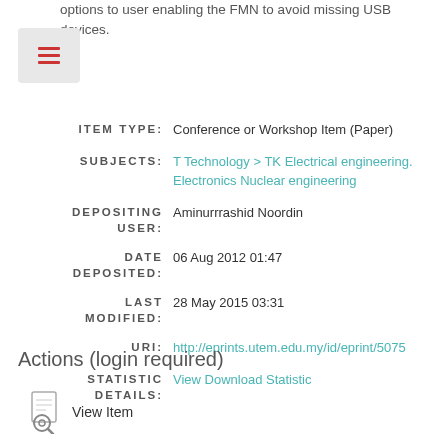options to user enabling the FMN to avoid missing USB devices.
| Field | Value |
| --- | --- |
| ITEM TYPE: | Conference or Workshop Item (Paper) |
| SUBJECTS: | T Technology > TK Electrical engineering. Electronics Nuclear engineering |
| DEPOSITING USER: | Aminurrrashid Noordin |
| DATE DEPOSITED: | 06 Aug 2012 01:47 |
| LAST MODIFIED: | 28 May 2015 03:31 |
| URI: | http://eprints.utem.edu.my/id/eprint/5075 |
| STATISTIC DETAILS: | View Download Statistic |
Actions (login required)
View Item